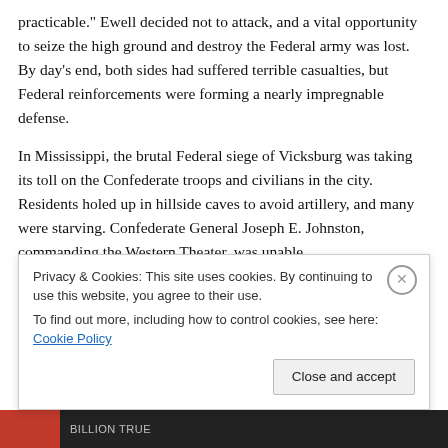practicable." Ewell decided not to attack, and a vital opportunity to seize the high ground and destroy the Federal army was lost. By day's end, both sides had suffered terrible casualties, but Federal reinforcements were forming a nearly impregnable defense.
In Mississippi, the brutal Federal siege of Vicksburg was taking its toll on the Confederate troops and civilians in the city. Residents holed up in hillside caves to avoid artillery, and many were starving. Confederate General Joseph E. Johnston, commanding the Western Theater, was unable
Privacy & Cookies: This site uses cookies. By continuing to use this website, you agree to their use.
To find out more, including how to control cookies, see here: Cookie Policy